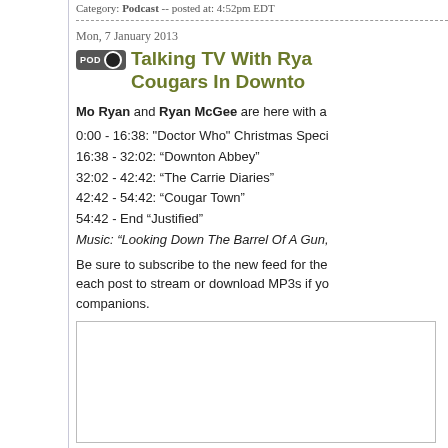Category: Podcast -- posted at: 4:52pm EDT
Mon, 7 January 2013
Talking TV With Rya... Cougars In Downto...
Mo Ryan and Ryan McGee are here with a...
0:00 - 16:38: "Doctor Who" Christmas Speci...
16:38 - 32:02: “Downton Abbey”
32:02 - 42:42: “The Carrie Diaries”
42:42 - 54:42: “Cougar Town”
54:42 - End “Justified”
Music: “Looking Down The Barrel Of A Gun,”
Be sure to subscribe to the new feed for the... each post to stream or download MP3s if yo... companions.
[Figure (other): Audio player embed box]